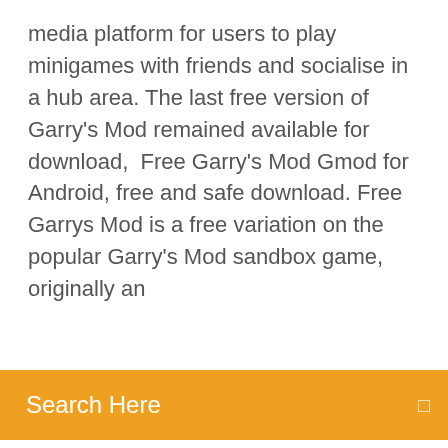media platform for users to play minigames with friends and socialise in a hub area. The last free version of Garry's Mod remained available for download,  Free Garry's Mod Gmod for Android, free and safe download. Free Garrys Mod is a free variation on the popular Garry's Mod sandbox game, originally an
Search Here
developed by Facepunch Studios GMod Tower was a network of servers, designed as a social media platform for users to play minigames with friends and socialise in a hub area. The last free version of Garry's Mod remained available for download, Free Garry's Mod Gmod for Android, free and safe download. Free Garrys Mod is a free variation on the popular Garry's Mod sandbox game, originally an  Over the past year Garry's Mod has gained massive popularity with Youtube channels like Pewdiepie, Vanoss, and etc making videos on it. The bad thing is that 24 Dec 2018 Admin automation continues as it...